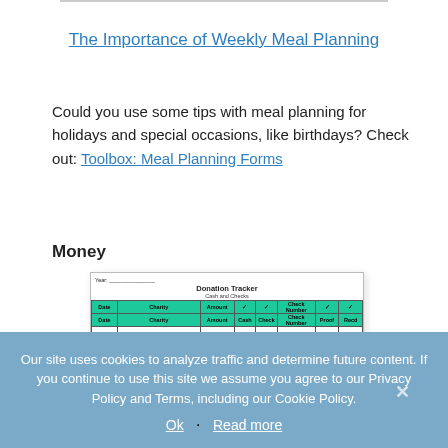The Importance of Weekly Meal Planning
Could you use some tips with meal planning for holidays and special occasions, like birthdays? Check out: Toolbox: Meal Planning Forms
Money
[Figure (other): Donation Tracker form showing a table with columns for Date, Charity, Amount, Cash, Check, Check Number, Proof, and Received, with teal/green header row and multiple empty data rows]
Our site uses cookies to analyze traffic and determine future content. If you continue to use this site we assume you agree to our Privacy Policy and Terms, including our Cookie Policy.
Ok · Read more